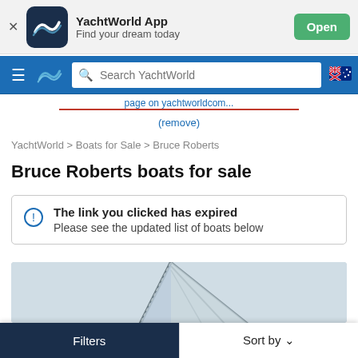[Figure (screenshot): YachtWorld app banner with app icon, name, tagline, and Open button]
YachtWorld App  Find your dream today  Open
[Figure (screenshot): YachtWorld website navigation bar with hamburger menu, logo, search box, and flag icon]
page on yachtworldcom  (remove)
YachtWorld > Boats for Sale > Bruce Roberts
Bruce Roberts boats for sale
The link you clicked has expired
Please see the updated list of boats below
[Figure (photo): Partial image of a sailboat mast and rigging against a pale sky]
Filters  Sort by